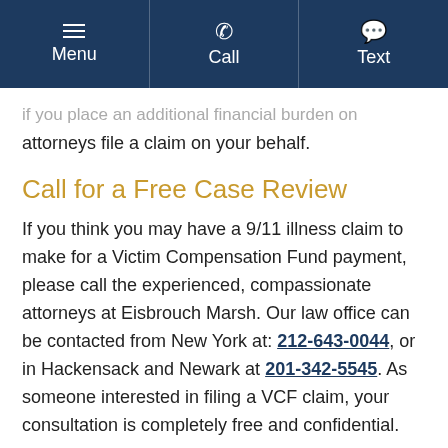Menu | Call | Text
attorneys file a claim on your behalf.
Call for a Free Case Review
If you think you may have a 9/11 illness claim to make for a Victim Compensation Fund payment, please call the experienced, compassionate attorneys at Eisbrouch Marsh. Our law office can be contacted from New York at: 212-643-0044, or in Hackensack and Newark at 201-342-5545. As someone interested in filing a VCF claim, your consultation is completely free and confidential.